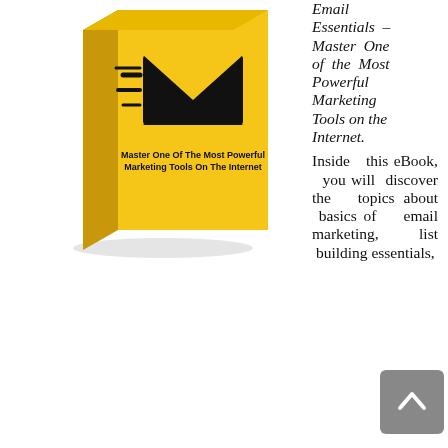[Figure (illustration): A yellow book cover with an email/envelope icon and speed lines, titled 'Master One Of The Most Powerful Marketing Tools On The Internet'. The book is shown in a 3D perspective angled view.]
Email Essentials – Master One of the Most Powerful Marketing Tools on the Internet.
Inside this eBook, you will discover the topics about basics of email marketing, list building essentials,